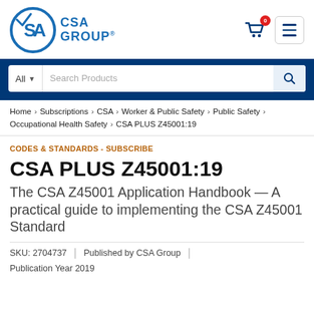[Figure (logo): CSA Group logo - circular blue SA emblem with CSA GROUP text]
CSA Group website header with search bar
Home > Subscriptions > CSA > Worker & Public Safety > Public Safety > Occupational Health Safety > CSA PLUS Z45001:19
CODES & STANDARDS - SUBSCRIBE
CSA PLUS Z45001:19
The CSA Z45001 Application Handbook — A practical guide to implementing the CSA Z45001 Standard
SKU: 2704737 | Published by CSA Group
Publication Year 2019